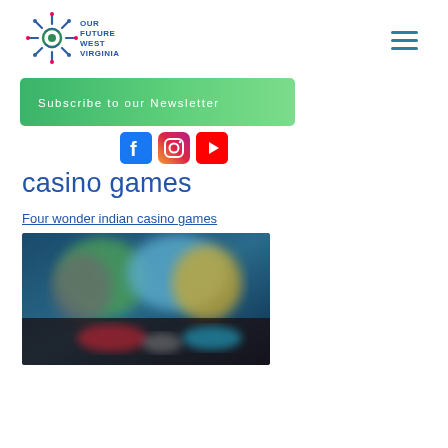Our Future West Virginia
[Figure (illustration): Subscribe to our Newsletter green gradient banner button]
[Figure (infographic): Social media icons: Facebook, Instagram, YouTube]
casino games
Four wonder indian casino games
[Figure (photo): Blurred screenshot of casino games interface with colorful animated characters on screen]